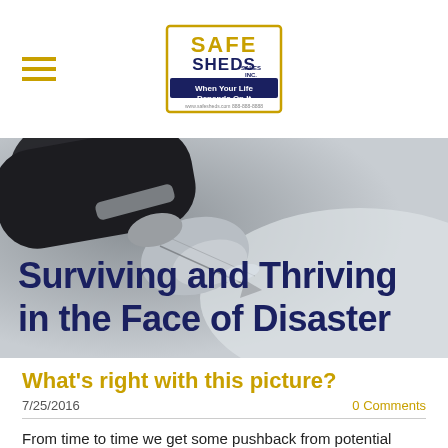[Figure (logo): Safe Sheds Sales Inc. logo with tagline 'When Your Life Depends On It']
[Figure (photo): Close-up photo of a fountain pen nib on a light gray background, serving as hero image]
Surviving and Thriving in the Face of Disaster
What's right with this picture?
7/25/2016
0 Comments
From time to time we get some pushback from potential customers about our product. While people are becoming more comfortable with the idea of an above ground storm shelter being totally safe, some folks still aren't sure about